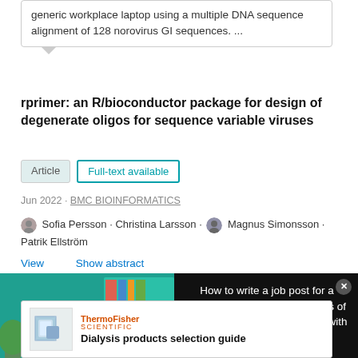generic workplace laptop using a multiple DNA sequence alignment of 128 norovirus GI sequences. ...
rprimer: an R/bioconductor package for design of degenerate oligos for sequence variable viruses
Article   Full-text available
Jun 2022 · BMC BIOINFORMATICS
Sofia Persson · Christina Larsson · Magnus Simonsson · Patrik Ellström
View   Show abstract
[Figure (screenshot): Video thumbnail showing a woman at a desk with text 'HOW TO WRITE A JOB POST FOR A SCIENTIST']
How to write a job post for a scientist, based on an analysis of how scientists have engaged with 2-million job posts
[Figure (logo): ThermoFisher Scientific logo with dialysis product image]
Dialysis products selection guide